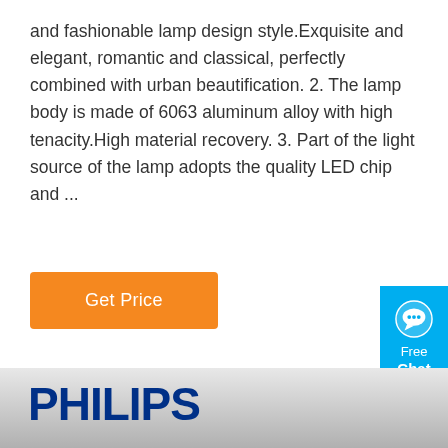and fashionable lamp design style.Exquisite and elegant, romantic and classical, perfectly combined with urban beautification. 2. The lamp body is made of 6063 aluminum alloy with high tenacity.High material recovery. 3. Part of the light source of the lamp adopts the quality LED chip and ...
[Figure (other): Orange 'Get Price' button]
[Figure (other): Blue 'Free Chat' widget with speech bubble icon in top right corner]
[Figure (photo): Philips branded product photo showing metal halide or halogen lamp bulbs on a white/gray background with PHILIPS logo in dark blue bold text at top left]